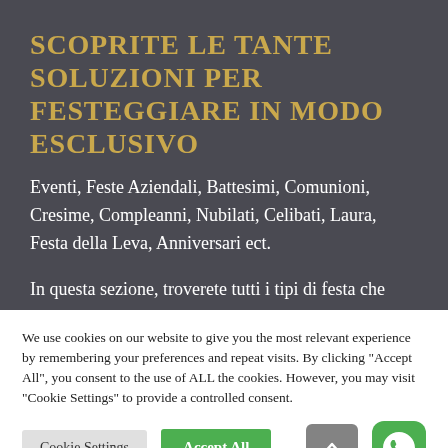SCOPRITE LE TANTE SOLUZIONI PER FESTEGGIARE IN MODO ESCLUSIVO
Eventi, Feste Aziendali, Battesimi, Comunioni, Cresime, Compleanni, Nubilati, Celibati, Laura, Festa della Leva, Anniversari ect.
In questa sezione, troverete tutti i tipi di festa che
We use cookies on our website to give you the most relevant experience by remembering your preferences and repeat visits. By clicking "Accept All", you consent to the use of ALL the cookies. However, you may visit "Cookie Settings" to provide a controlled consent.